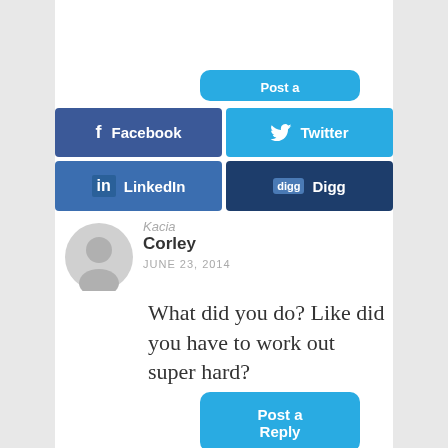[Figure (screenshot): Social share buttons: Post a, Facebook, Twitter, LinkedIn, Digg]
Kacia Corley
JUNE 23, 2014
What did you do? Like did you have to work out super hard?
Post a Reply